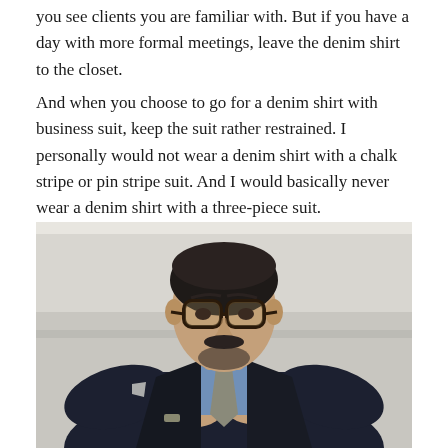you see clients you are familiar with. But if you have a day with more formal meetings, leave the denim shirt to the closet.
And when you choose to go for a denim shirt with business suit, keep the suit rather restrained. I personally would not wear a denim shirt with a chalk stripe or pin stripe suit. And I would basically never wear a denim shirt with a three-piece suit.
[Figure (photo): A man wearing a dark navy suit jacket with a blue denim shirt and a grey knit tie, adjusting his tie collar. He has dark hair, a mustache and beard, and is wearing thick-framed glasses. The background is light/overcast outdoor setting.]